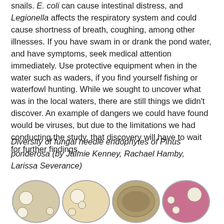snails. E. coli can cause intestinal distress, and Legionella affects the respiratory system and could cause shortness of breath, coughing, among other illnesses. If you have swam in or drank the pond water, and have symptoms, seek medical attention immediately. Use protective equipment when in the water such as waders, if you find yourself fishing or waterfowl hunting. While we sought to uncover what was in the local waters, there are still things we didn't discover. An example of dangers we could have found would be viruses, but due to the limitations we had conducting the study, that discovery will have to wait for further findings.
Diversity of fungal needle endophytes of Pinus ponderosa (by Jaimie Kenney, Rachael Hamby, Larissa Severance)
[Figure (photo): Photograph of four petri dishes containing fungal cultures. The first two dishes show beige/tan colonies on light agar, the third dish shows a denser grayish-brown culture, and the fourth dish has a purple/pink agar with white colonies.]